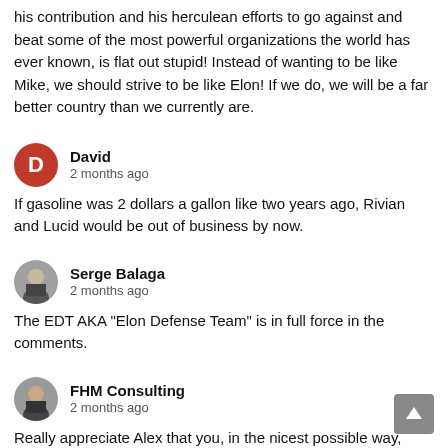his contribution and his herculean efforts to go against and beat some of the most powerful organizations the world has ever known, is flat out stupid! Instead of wanting to be like Mike, we should strive to be like Elon! If we do, we will be a far better country than we currently are.
David
2 months ago
If gasoline was 2 dollars a gallon like two years ago, Rivian and Lucid would be out of business by now.
Serge Balaga
2 months ago
The EDT AKA "Elon Defense Team" is in full force in the comments.
FHM Consulting
2 months ago
Really appreciate Alex that you, in the nicest possible way, question the